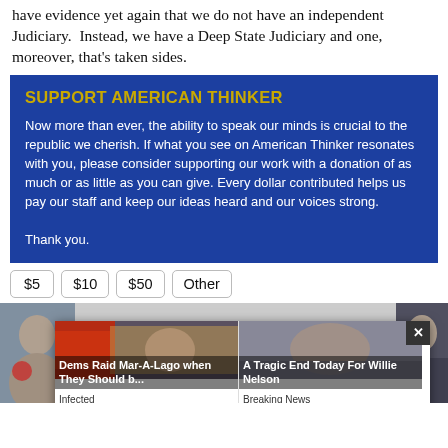have evidence yet again that we do not have an independent Judiciary.  Instead, we have a Deep State Judiciary and one, moreover, that's taken sides.
SUPPORT AMERICAN THINKER
Now more than ever, the ability to speak our minds is crucial to the republic we cherish. If what you see on American Thinker resonates with you, please consider supporting our work with a donation of as much or as little as you can give. Every dollar contributed helps us pay our staff and keep our ideas heard and our voices strong.

Thank you.
$5
$10
$50
Other
[Figure (photo): Advertisement overlay showing two news teasers: 'Dems Raid Mar-A-Lago when They Should b...' from Infected, and 'A Tragic End Today For Willie Nelson' from Breaking News, with a close (X) button]
[Figure (photo): Bottom strip showing partial photos of people on left and right sides]